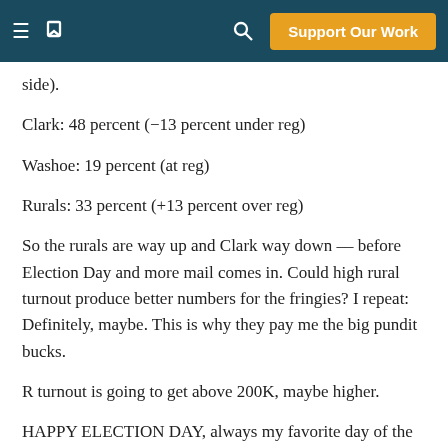Support Our Work
side).
Clark: 48 percent (-13 percent under reg)
Washoe: 19 percent (at reg)
Rurals: 33 percent (+13 percent over reg)
So the rurals are way up and Clark way down -- before Election Day and more mail comes in. Could high rural turnout produce better numbers for the fringies? I repeat: Definitely, maybe. This is why they pay me the big pundit bucks.
R turnout is going to get above 200K, maybe higher.
HAPPY ELECTION DAY, always my favorite day of the year.
Updated, June 13, 7 AM:
Final Clark stats boosted by relatively large final day (Friday)